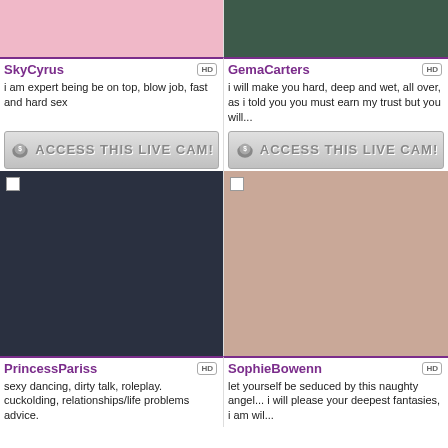[Figure (photo): Top portion of performer SkyCyrus in pink outfit on pink background]
[Figure (photo): Top portion of performer GemaCarters on dark green background]
SkyCyrus
GemaCarters
i am expert being be on top, blow job, fast and hard sex
i will make you hard, deep and wet, all over, as i told you you must earn my trust but you will...
[Figure (other): ACCESS THIS LIVE CAM! button left]
[Figure (other): ACCESS THIS LIVE CAM! button right]
[Figure (photo): PrincessPariss in black mesh outfit with chains]
[Figure (photo): SophieBowenn lying on bed in dark outfit]
PrincessPariss
SophieBowenn
sexy dancing, dirty talk, roleplay. cuckolding, relationships/life problems advice.
let yourself be seduced by this naughty angel... i will please your deepest fantasies, i am wil...